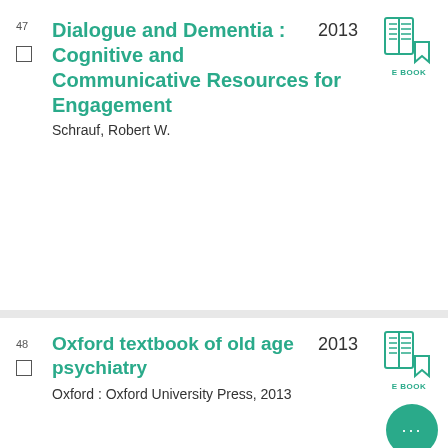47 Dialogue and Dementia : Cognitive and Communicative Resources for Engagement 2013 E BOOK
Schrauf, Robert W.
48 Oxford textbook of old age psychiatry 2013 E BOOK
Oxford : Oxford University Press, 2013